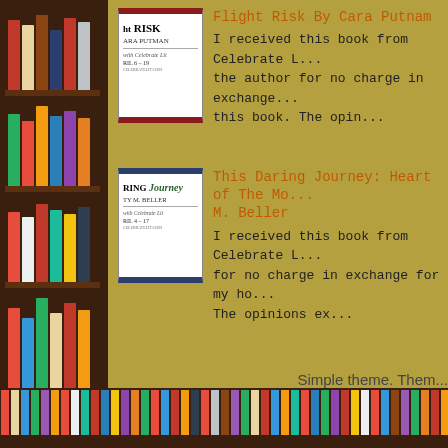[Figure (illustration): Book cover for Flight Risk by Cara Putnam, white cover with dark red borders, showing title and author]
Flight Risk By Cara Putnam
I received this book from Celebrate L... the author for no charge in exchange... this book. The opin...
[Figure (illustration): Book cover for This Daring Journey by Misty M. Beller, white cover with dark navy borders]
This Daring Journey: Heart of The Mo... M. Beller
I received this book from Celebrate L... for no charge in exchange for my ho... The opinions ex...
Simple theme. Them...